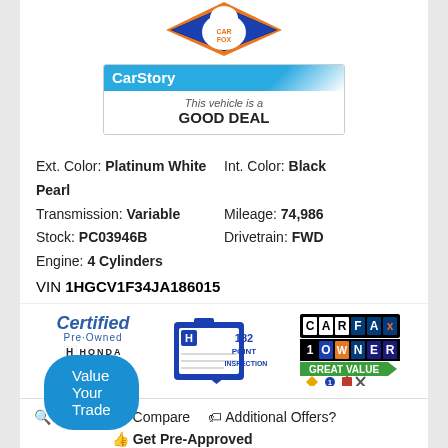[Figure (logo): CARFAX logo with Car Fox mascot wearing white t-shirt, diamond shape with orange/blue/black borders]
[Figure (infographic): CarStory badge: 'CarStory' header in blue, body text: 'This vehicle is a GOOD DEAL']
Ext. Color: Platinum White Pearl    Int. Color: Black
Transmission: Variable    Mileage: 74,986
Stock: PC03946B    Drivetrain: FWD
Engine: 4 Cylinders
VIN 1HGCV1F34JA186015
[Figure (logo): Certified Pre-Owned Honda badge in blue italic text with Honda H logo]
[Figure (logo): 182 Point Inspection badge in blue with Honda logo]
[Figure (logo): CARFAX 1 Owner Great Value badge with icons]
Details  Compare  Additional Offers?
Get Pre-Approved
Value Your Trade